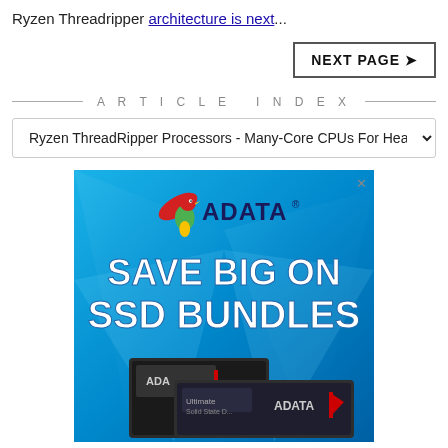Ryzen Threadripper architecture is next...
NEXT PAGE →
ARTICLE INDEX
Ryzen ThreadRipper Processors - Many-Core CPUs For Hea
[Figure (photo): ADATA advertisement banner showing 'SAVE BIG ON SSD BUNDLES' with ADATA SSD products on a blue background with the ADATA logo and mascot bird.]